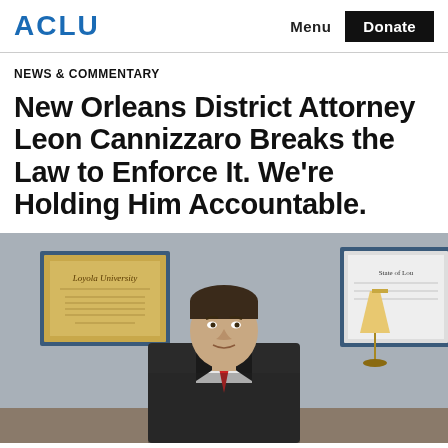ACLU  Menu  Donate
NEWS & COMMENTARY
New Orleans District Attorney Leon Cannizzaro Breaks the Law to Enforce It. We're Holding Him Accountable.
[Figure (photo): A man in a dark suit with a red tie sitting at a desk in an office, with framed certificates and diplomas on the wall behind him, and a lamp visible to the right.]